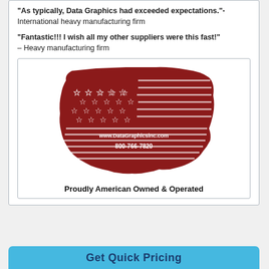“As typically, Data Graphics had exceeded expectations.”- International heavy manufacturing firm
“Fantastic!!! I wish all my other suppliers were this fast!” – Heavy manufacturing firm
[Figure (illustration): USA map shaped as an American flag in dark red/maroon with stars and stripes, showing www.DataGraphicsinc.com and 800-766-7820]
Proudly American Owned & Operated
Get Quick Pricing